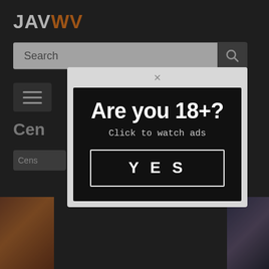JAVWV
[Figure (screenshot): Website header with search bar and menu button on dark background, with partial page content visible]
[Figure (infographic): Age verification popup modal with close button (×), black background containing large text 'Are you 18+?', subtext 'Click to watch ads', and a YES button with white border]